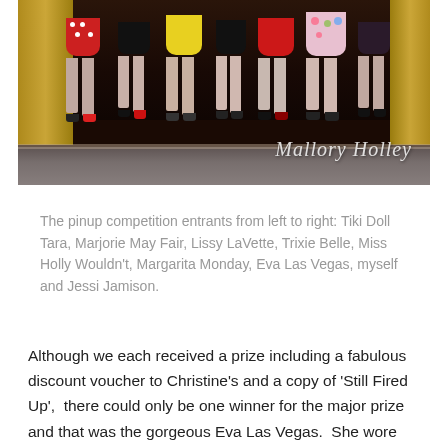[Figure (photo): Photo of pinup competition entrants on stage from the knees down, showing colorful skirts and shoes. Watermark reads 'Mallory Holley' in the bottom right corner.]
The pinup competition entrants from left to right: Tiki Doll Tara, Marjorie May Fair, Lissy LaVette, Trixie Belle, Miss Holly Wouldn't, Margarita Monday, Eva Las Vegas, myself and Jessi Jamison.
Although we each received a prize including a fabulous discount voucher to Christine's and a copy of 'Still Fired Up',  there could only be one winner for the major prize and that was the gorgeous Eva Las Vegas.  She wore her fuchsia Pinup Girl 'Birdie' dress with her Hell Bunny petticoat, vintage lilac hat, vintage gloves and of course a beautiful smile.